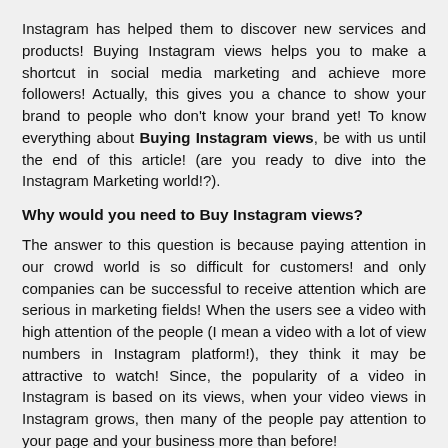Instagram has helped them to discover new services and products! Buying Instagram views helps you to make a shortcut in social media marketing and achieve more followers! Actually, this gives you a chance to show your brand to people who don't know your brand yet! To know everything about Buying Instagram views, be with us until the end of this article! (are you ready to dive into the Instagram Marketing world!?).
Why would you need to Buy Instagram views?
The answer to this question is because paying attention in our crowd world is so difficult for customers! and only companies can be successful to receive attention which are serious in marketing fields! When the users see a video with high attention of the people (I mean a video with a lot of view numbers in Instagram platform!), they think it may be attractive to watch! Since, the popularity of a video in Instagram is based on its views, when your video views in Instagram grows, then many of the people pay attention to your page and your business more than before!
So, try to Buy Instagram views and make useful and high-quality videos to grow your Instagram Marketing! Buying quick Instagram